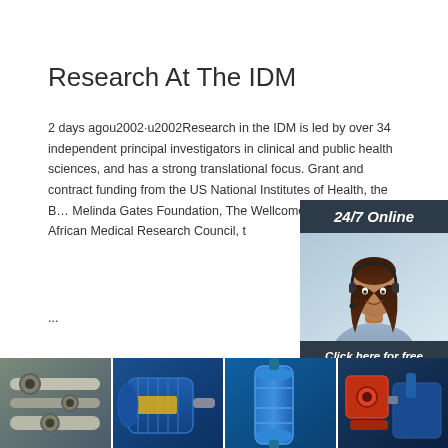Research At The IDM
2 days agou2002·u2002Research in the IDM is led by over 34 independent principal investigators in clinical and public health sciences, and has a strong translational focus. Grant and contract funding from the US National Institutes of Health, the Bill & Melinda Gates Foundation, The Wellcome Trust, the South African Medical Research Council, t
...
[Figure (other): Orange 'Get Price' button]
[Figure (other): Sidebar chat widget with '24/7 Online' header, photo of woman with headset, 'Click here for free chat!' text, and orange QUOTATION button]
[Figure (photo): Four industrial equipment photos in a strip at the bottom: machinery/pipes, blue electric motor, blue industrial filter/pump, red and blue equipment]